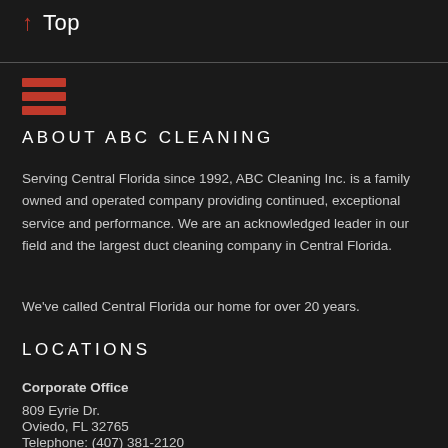↑ Top
ABOUT ABC CLEANING
Serving Central Florida since 1992, ABC Cleaning Inc. is a family owned and operated company providing continued, exceptional service and performance. We are an acknowledged leader in our field and the largest duct cleaning company in Central Florida.
We've called Central Florida our home for over 20 years.
LOCATIONS
Corporate Office
809 Eyrie Dr.
Oviedo, FL 32765
Telephone: (407) 381-2120
Regional Office
1005 N. Pine Hills Rd.